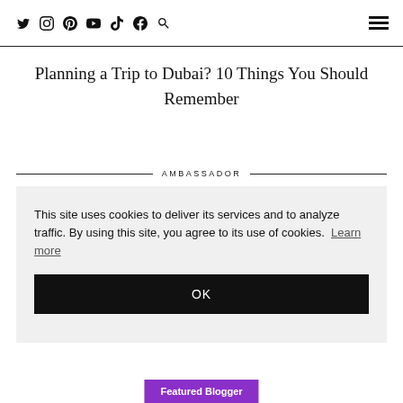Twitter Instagram Pinterest YouTube TikTok Facebook Search [hamburger menu]
Planning a Trip to Dubai? 10 Things You Should Remember
AMBASSADOR
This site uses cookies to deliver its services and to analyze traffic. By using this site, you agree to its use of cookies. Learn more
OK
Featured Blogger